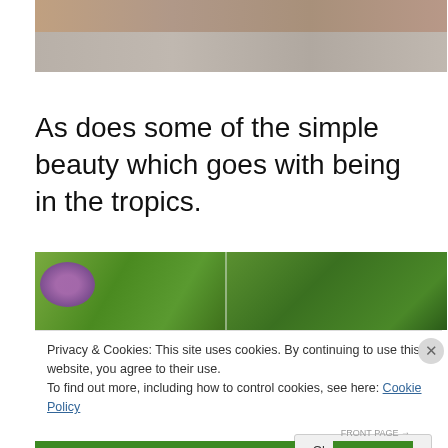[Figure (photo): Top portion of a photo showing a road/path with a brick or stone edge, viewed from above, muted brown and grey tones.]
As does some of the simple beauty which goes with being in the tropics.
[Figure (photo): Partial photo of tropical foliage — purple/pink flowers and large green leaves on the left, dense green tree canopy on the right.]
Privacy & Cookies: This site uses cookies. By continuing to use this website, you agree to their use.
To find out more, including how to control cookies, see here: Cookie Policy
Close and accept